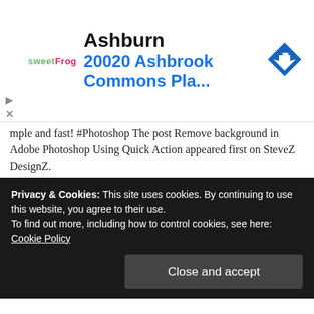[Figure (other): Advertisement banner for sweetFrog featuring Ashburn location at 20020 Ashbrook Commons Pla... with a blue navigation diamond icon]
mple and fast! #Photoshop The post Remove background in Adobe Photoshop Using Quick Action appeared first on SteveZ DesignZ.
Loupe
Loupe - Special Magnifying glass it does help to see the dots in four color printing, which is used close to the eye, while a magnifying glass is used at a distance. #loupe The post Loupe appeared first on SteveZ DesignZ.
Fans
Privacy & Cookies: This site uses cookies. By continuing to use this website, you agree to their use.
To find out more, including how to control cookies, see here:
Cookie Policy
Close and accept